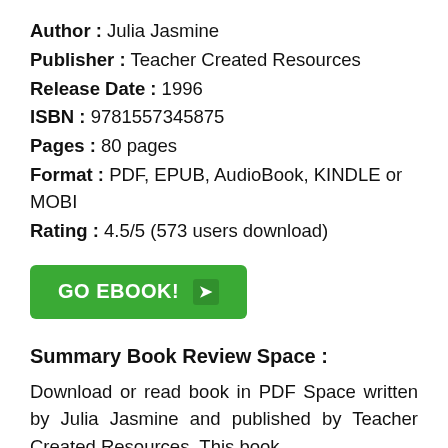Author : Julia Jasmine
Publisher : Teacher Created Resources
Release Date : 1996
ISBN : 9781557345875
Pages : 80 pages
Format : PDF, EPUB, AudioBook, KINDLE or MOBI
Rating : 4.5/5 (573 users download)
[Figure (other): Green button labeled GO EBOOK! with arrow icon]
Summary Book Review Space :
Download or read book in PDF Space written by Julia Jasmine and published by Teacher Created Resources. This book